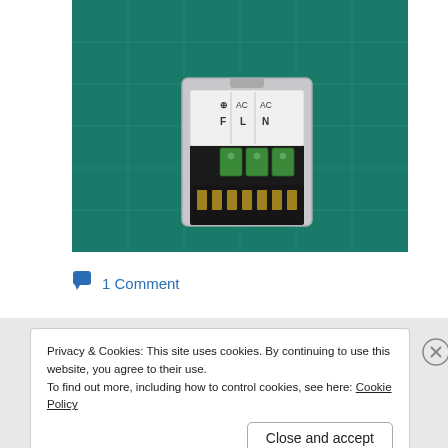[Figure (photo): Close-up photo of an electronic module/relay with labeled terminals: AC F, AC L, AC N on a green PCB background with grid pattern]
1 Comment
Privacy & Cookies: This site uses cookies. By continuing to use this website, you agree to their use.
To find out more, including how to control cookies, see here: Cookie Policy
Close and accept